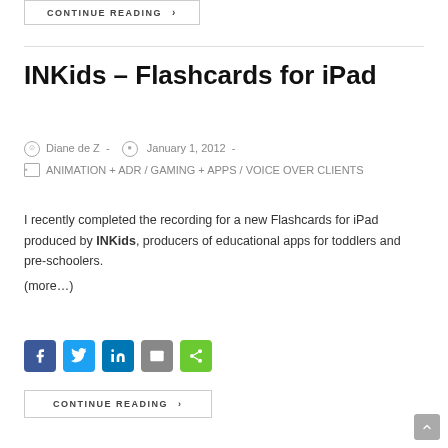CONTINUE READING ›
INKids – Flashcards for iPad
Diane de Z  -  January 1, 2012  -
ANIMATION + ADR / GAMING + APPS / VOICE OVER CLIENTS
I recently completed the recording for a new Flashcards for iPad produced by INKids, producers of educational apps for toddlers and pre-schoolers.
(more…)
[Figure (other): Social sharing icons: Facebook, Twitter, LinkedIn, Email, Share]
CONTINUE READING ›